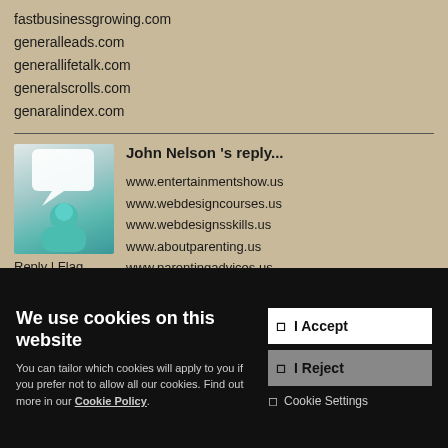fastbusinessgrowing.com
generalleads.com
generallifetalk.com
generalscrolls.com
genaralindex.com
John Nelson 's reply...
www.entertainmentshow.us
www.webdesigncourses.us
www.webdesignsskills.us
www.aboutparenting.us
www.parentingadvices.us
www.ideasaboutfood.us
Reply | Flag
www.favfoods.us
We use cookies on this website
You can tailor which cookies will apply to you if you prefer not to allow all our cookies. Find out more in our Cookie Policy.
I Accept
I Reject
Cookie Settings